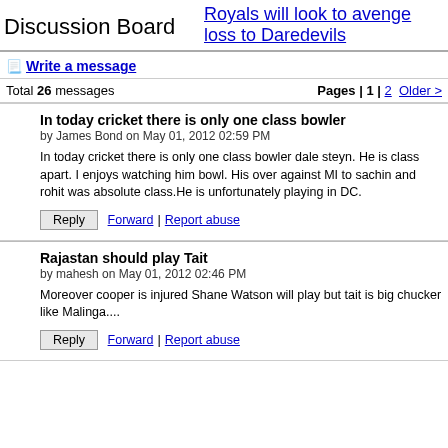Discussion Board
Royals will look to avenge loss to Daredevils
Write a message
Total 26 messages   Pages | 1 | 2   Older >
In today cricket there is only one class bowler
by James Bond on May 01, 2012 02:59 PM
In today cricket there is only one class bowler dale steyn. He is class apart. I enjoys watching him bowl. His over against MI to sachin and rohit was absolute class.He is unfortunately playing in DC.
Reply  Forward  |  Report abuse
Rajastan should play Tait
by mahesh on May 01, 2012 02:46 PM
Moreover cooper is injured Shane Watson will play but tait is big chucker like Malinga....
Reply  Forward  |  Report abuse